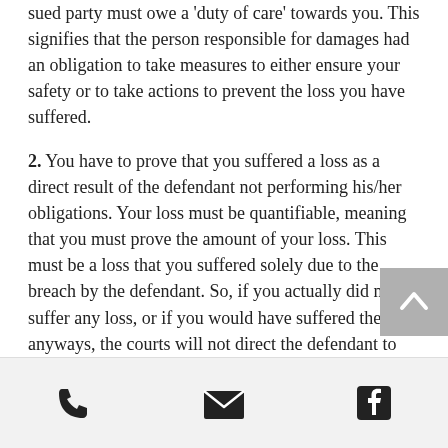sued party must owe a 'duty of care' towards you. This signifies that the person responsible for damages had an obligation to take measures to either ensure your safety or to take actions to prevent the loss you have suffered.
2. You have to prove that you suffered a loss as a direct result of the defendant not performing his/her obligations. Your loss must be quantifiable, meaning that you must prove the amount of your loss. This must be a loss that you suffered solely due to the breach by the defendant. So, if you actually did not suffer any loss, or if you would have suffered the loss anyways, the courts will not direct the defendant to pay you any money whatsoever.
[Figure (other): Footer bar with phone, email, and Facebook icons]